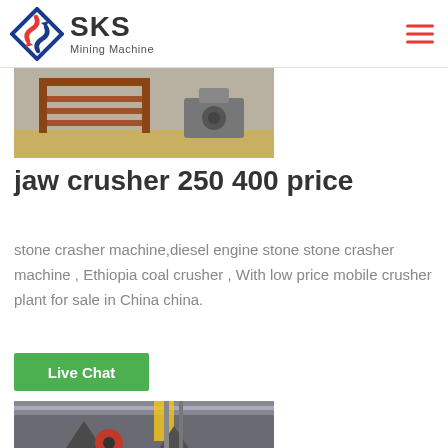SKS Mining Machine
[Figure (photo): Industrial machinery photo showing metal stairs and equipment in a warehouse/factory setting]
jaw crusher 250 400 price
stone crasher machine,diesel engine stone stone crasher machine , Ethiopia coal crusher , With low price mobile crusher plant for sale in China china.
[Figure (other): Green Live Chat button]
[Figure (photo): Industrial cone crusher machines in a factory setting, gray metal equipment]